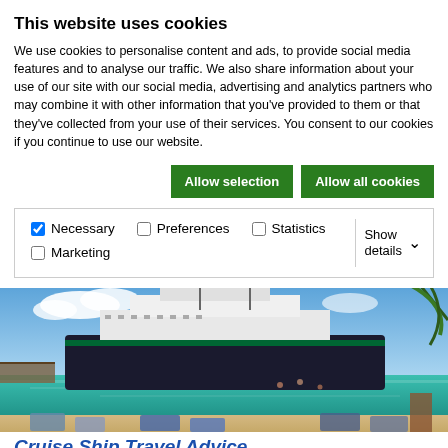This website uses cookies
We use cookies to personalise content and ads, to provide social media features and to analyse our traffic. We also share information about your use of our site with our social media, advertising and analytics partners who may combine it with other information that you've provided to them or that they've collected from your use of their services. You consent to our cookies if you continue to use our website.
Allow selection | Allow all cookies
Necessary  Preferences  Statistics  Marketing  Show details
[Figure (photo): Cruise ship docked at a tropical island with turquoise water, sandy beach, palm trees and beach chairs in the foreground]
Cruise Ship Travel Advice